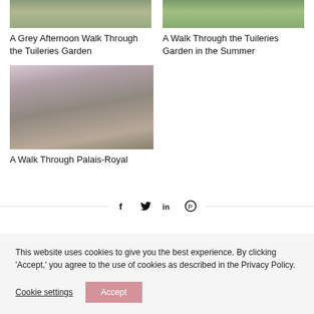[Figure (photo): Grey afternoon view of Tuileries Garden, top-cropped]
A Grey Afternoon Walk Through the Tuileries Garden
[Figure (photo): Summer view of Tuileries Garden, top-cropped]
A Walk Through the Tuileries Garden in the Summer
[Figure (photo): Spring view of Palais-Royal with bench and flowering trees]
A Walk Through Palais-Royal
Social share icons: Facebook, Twitter, LinkedIn, Pinterest
This website uses cookies to give you the best experience. By clicking 'Accept,' you agree to the use of cookies as described in the Privacy Policy.
Cookie settings  Accept